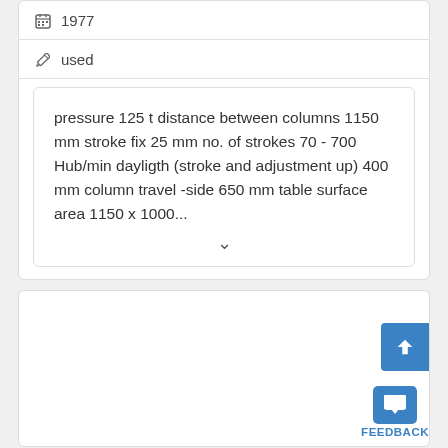1977
used
pressure 125 t distance between columns 1150 mm stroke fix 25 mm no. of strokes 70 - 700 Hub/min dayligth (stroke and adjustment up) 400 mm column travel -side 650 mm table surface area 1150 x 1000...
[Figure (screenshot): Second card section with blue scroll-up button and feedback button]